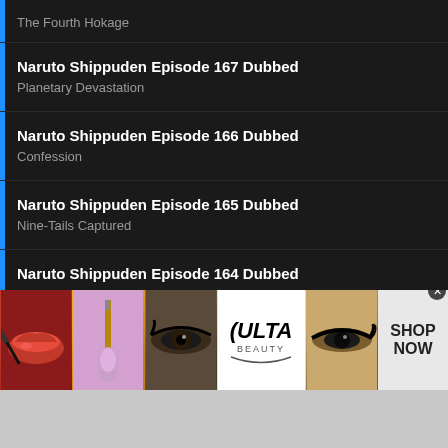The Fourth Hokage
Naruto Shippuden Episode 167 Dubbed
Planetary Devastation
Naruto Shippuden Episode 166 Dubbed
Confession
Naruto Shippuden Episode 165 Dubbed
Nine-Tails Captured
Naruto Shippuden Episode 164 Dubbed
Pinch! Sage Mode Disappears
Naruto Shippuden Episode 163 Dubbed
Explode! Sage Mode
[Figure (other): ULTA Beauty advertisement banner showing makeup images (lips, brush, eye) with ULTA logo and SHOP NOW button]